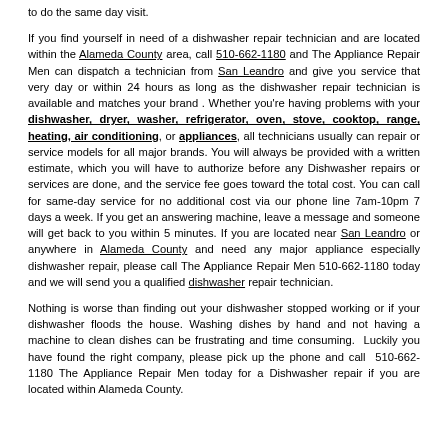to do the same day visit.
If you find yourself in need of a dishwasher repair technician and are located within the Alameda County area, call 510-662-1180 and The Appliance Repair Men can dispatch a technician from San Leandro and give you service that very day or within 24 hours as long as the dishwasher repair technician is available and matches your brand . Whether you're having problems with your dishwasher, dryer, washer, refrigerator, oven, stove, cooktop, range, heating, air conditioning, or appliances, all technicians usually can repair or service models for all major brands. You will always be provided with a written estimate, which you will have to authorize before any Dishwasher repairs or services are done, and the service fee goes toward the total cost. You can call for same-day service for no additional cost via our phone line 7am-10pm 7 days a week. If you get an answering machine, leave a message and someone will get back to you within 5 minutes. If you are located near San Leandro or anywhere in Alameda County and need any major appliance especially dishwasher repair, please call The Appliance Repair Men 510-662-1180 today and we will send you a qualified dishwasher repair technician.
Nothing is worse than finding out your dishwasher stopped working or if your dishwasher floods the house. Washing dishes by hand and not having a machine to clean dishes can be frustrating and time consuming. Luckily you have found the right company, please pick up the phone and call 510-662-1180 The Appliance Repair Men today for a Dishwasher repair if you are located within Alameda County.